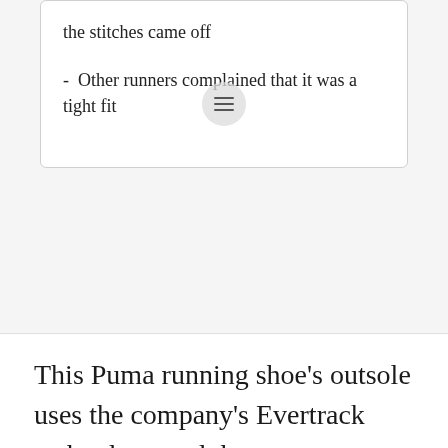the stitches came off
- Other runners complained that it was a tight fit
This Puma running shoe's outsole uses the company's Evertrack technology and that ensures durability. The flex grooves on the outsole also provide good traction on the track. The mid-sole's foam provides extra cushioning while still keeping it lightweight. The shoe's